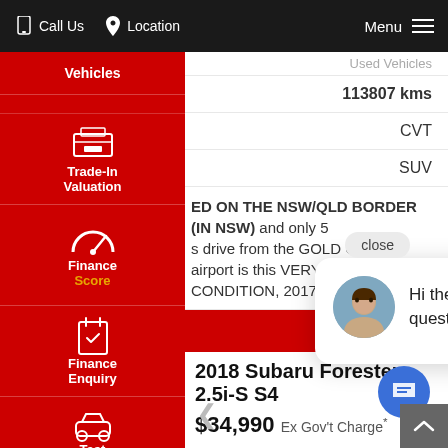Call Us   Location   Menu
[Figure (screenshot): Left sidebar navigation with red background: Vehicles, Trade-In Valuation (with icon), Finance Score (with speedometer icon, gold text), Finance Enquiry (with clipboard icon), Test Drive (with car icon), Click To Buy (with cart icon)]
113807 kms
CVT
SUV
ED ON THE NSW/QLD BORDER (IN NSW) and only 5 s drive from the GOLD COAST airport is this VERY CONDITION, 2017 (MY17)...
close
Hi there, have a question? Text us here.
2018 Subaru Forester 2.5i-S S4
$34,990 Ex Gov't Charge*